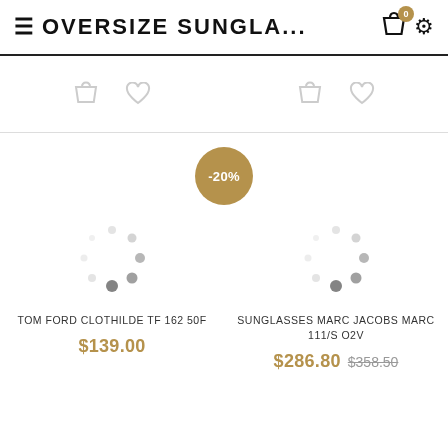≡ OVERSIZE SUNGLA...
[Figure (screenshot): E-commerce product listing page showing oversize sunglasses. Two products shown: TOM FORD CLOTHILDE TF 162 50F at $139.00 and SUNGLASSES MARC JACOBS MARC 111/S O2V at $286.80 (original $358.50, -20% discount). Loading spinners visible in product image areas.]
TOM FORD CLOTHILDE TF 162 50F
$139.00
SUNGLASSES MARC JACOBS MARC 111/S O2V
$286.80 $358.50